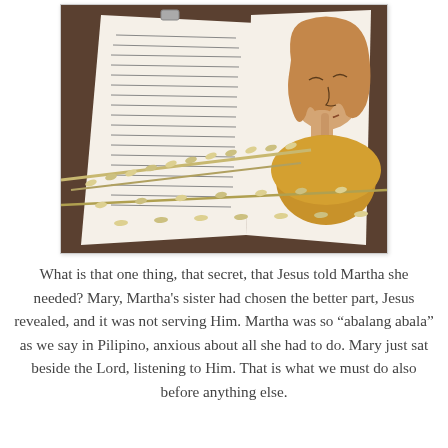[Figure (photo): A photo of an open Bible with handwritten notes and a illustrated drawing of a woman with her hand raised to her face, surrounded by dried white/cream floral branches laid across the pages. The illustration shows a woman in a golden/yellow garment in a contemplative pose.]
What is that one thing, that secret, that Jesus told Martha she needed? Mary, Martha's sister had chosen the better part, Jesus revealed, and it was not serving Him. Martha was so “abalang abala” as we say in Pilipino, anxious about all she had to do. Mary just sat beside the Lord, listening to Him. That is what we must do also before anything else.